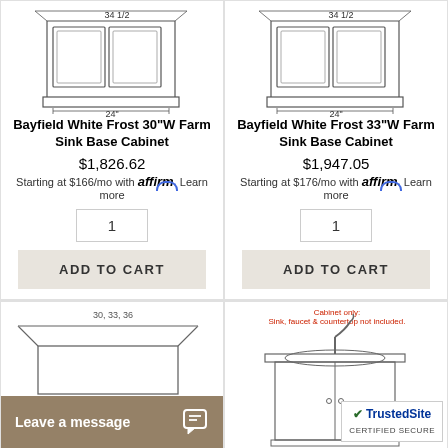[Figure (illustration): Line drawing of Bayfield White Frost 30"W Farm Sink Base Cabinet with dimension labels 34-1/2 and 24"]
Bayfield White Frost 30"W Farm Sink Base Cabinet
$1,826.62
Starting at $166/mo with affirm. Learn more
1
ADD TO CART
[Figure (illustration): Line drawing of Bayfield White Frost 33"W Farm Sink Base Cabinet with dimension labels 34-1/2 and 24"]
Bayfield White Frost 33"W Farm Sink Base Cabinet
$1,947.05
Starting at $176/mo with affirm. Learn more
1
ADD TO CART
[Figure (illustration): Line drawing of a farm sink base cabinet showing dimensions 30, 33, 36]
[Figure (illustration): Line drawing of a farm sink cabinet with faucet; label reads Cabinet only: Sink, faucet & countertop not included.]
Leave a message